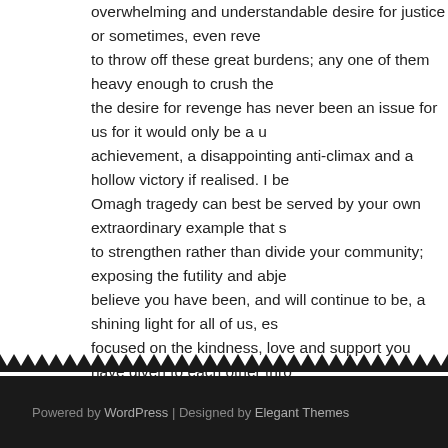overwhelming and understandable desire for justice or sometimes, even reve to throw off these great burdens; any one of them heavy enough to crush the the desire for revenge has never been an issue for us for it would only be a u achievement, a disappointing anti-climax and a hollow victory if realised. I be Omagh tragedy can best be served by your own extraordinary example that s to strengthen rather than divide your community; exposing the futility and abje believe you have been, and will continue to be, a shining light for all of us, es focused on the kindness, love and support you have given to each other thro will be the most important memorial to your loved ones and perhaps Omagh's
Stephen Travers.
The Miami Showband.
Powered by WordPress | Designed by Elegant Themes